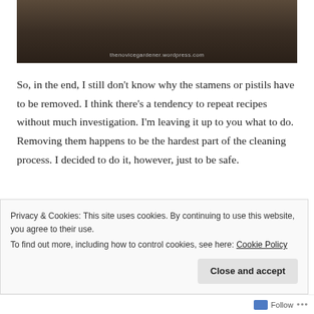[Figure (photo): Partial view of a food/plant photograph with dark background and a watermark 'thenovicegardener.wordpress.com' at the bottom]
So, in the end, I still don't know why the stamens or pistils have to be removed. I think there's a tendency to repeat recipes without much investigation. I'm leaving it up to you what to do. Removing them happens to be the hardest part of the cleaning process. I decided to do it, however, just to be safe.
[Figure (screenshot): Dark banner with struck-through bold italic text 'more work!' and a 'Get started for free' button with rounded border]
Privacy & Cookies: This site uses cookies. By continuing to use this website, you agree to their use.
To find out more, including how to control cookies, see here: Cookie Policy
Close and accept